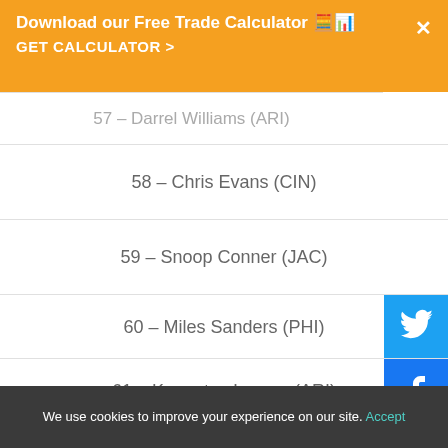Download our Free Trade Calculator 🧮📊 GET CALCULATOR >
57 – Darrel Williams (ARI)
58 – Chris Evans (CIN)
59 – Snoop Conner (JAC)
60 – Miles Sanders (PHI)
61 – Keaontay Ingram (ARI)
62 – Rashaad Penny (SEA)
63 – Dameon Pierce (HOU)
64 – Clyde Edwards-Helaire (KC)
We use cookies to improve your experience on our site. Accept